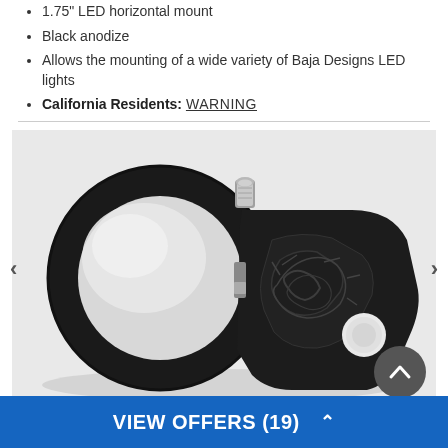1.75" LED horizontal mount
Black anodize
Allows the mounting of a wide variety of Baja Designs LED lights
California Residents: WARNING
[Figure (photo): Black anodized LED horizontal mount clamp viewed from above at an angle, showing circular clamp ring on left and flat mounting plate with embossed Baja Designs logo on right, plus a silver bolt at top and round hole at right]
VIEW OFFERS (19)